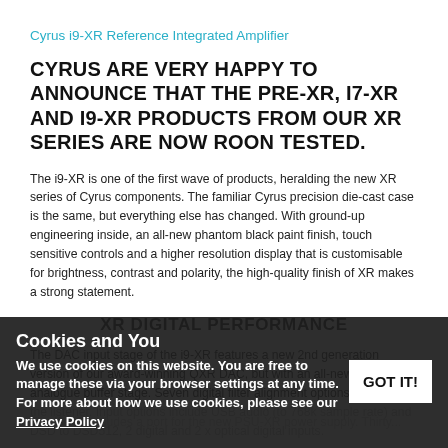Cyrus i9-XR Reference Integrated Amplifier
CYRUS ARE VERY HAPPY TO ANNOUNCE THAT THE PRE-XR, I7-XR AND I9-XR PRODUCTS FROM OUR XR SERIES ARE NOW ROON TESTED.
The i9-XR is one of the first wave of products, heralding the new XR series of Cyrus components. The familiar Cyrus precision die-cast case is the same, but everything else has changed. With ground-up engineering inside, an all-new phantom black paint finish, touch sensitive controls and a higher resolution display that is customisable for brightness, contrast and polarity, the high-quality finish of XR makes a strong statement.
XR DIGITAL PERFORMANCE
The DAC input stage of the i9-XR features a new 2nd generation version of our award-winning QXR DAC, but with an all-new high-speed analogue buffer stage. Seven digital filter alignment options are u... of the listener. Input options include USB audio (to 768k sample rate) and DSD to DSD512, 2 digital and 2 x optical digital inputs.
The i9-XR includes a port for the new PSU-XR power supply. Thirty...
Cookies and You
We use cookies on this website. You are free to manage these via your browser settings at any time. For more about how we use cookies, please see our Privacy Policy